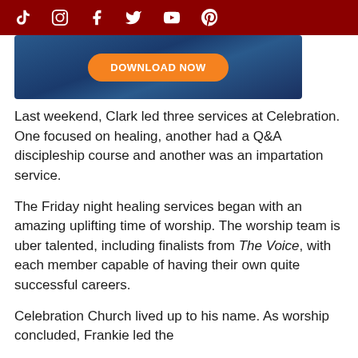Social media icons: TikTok, Instagram, Facebook, Twitter, YouTube, Pinterest
[Figure (other): Blue gradient banner image with orange Download Now button]
Last weekend, Clark led three services at Celebration. One focused on healing, another had a Q&A discipleship course and another was an impartation service.
The Friday night healing services began with an amazing uplifting time of worship. The worship team is uber talented, including finalists from The Voice, with each member capable of having their own quite successful careers.
Celebration Church lived up to his name. As worship concluded, Frankie led the